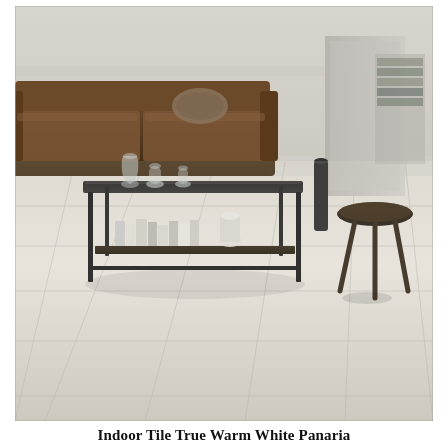[Figure (photo): Interior living room scene showing warm white large-format floor tiles (Panaria brand). A dark wood and black metal coffee table with books and a white vase sits in the foreground. A brown leather sofa is visible in the background, along with a small round side table on the right. The floor tiles are large rectangular warm white/cream stone-look porcelain tiles with subtle grout lines.]
Indoor Tile True Warm White Panaria